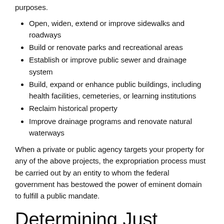purposes.
Open, widen, extend or improve sidewalks and roadways
Build or renovate parks and recreational areas
Establish or improve public sewer and drainage system
Build, expand or enhance public buildings, including health facilities, cemeteries, or learning institutions
Reclaim historical property
Improve drainage programs and renovate natural waterways
When a private or public agency targets your property for any of the above projects, the expropriation process must be carried out by an entity to whom the federal government has bestowed the power of eminent domain to fulfill a public mandate.
Determining Just Compensation For Private Property
The federal government and the state recognize the rights of a